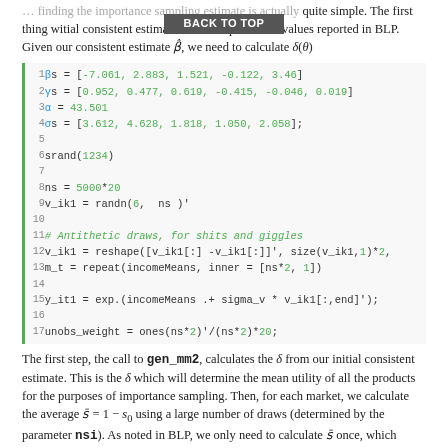quite simple. The first thing we need is an initial consistent estimate. I use the parameter values reported in BLP. Given our consistent estimate θ, we need to calculate δ(θ)
[Figure (screenshot): Code block with line numbers 1-17 showing Julia/MATLAB-style code setting parameters βs, γs, α, σs, srand, ns, v_ik1, antithetic draws, m_t, y_it1, unobs_weight]
The first step, the call to gen_mm2, calculates the δ from our initial consistent estimate. This is the δ which will determine the mean utility of all the products for the purposes of importance sampling. Then, for each market, we calculate the average s̄ = 1 − s₀ using a large number of draws (determined by the parameter nsi). As noted in BLP, we only need to calculate s̄ once, which means we can use a large number of draws to accurately approximate the integral. Next, we take nf draws from the uniform distribution and the standard normal distribution. We calculate f̄(νᵢ) = Σⱼ fⱼ(νᵢ) for each draw and determine if uᵢ ≤ f̄(νᵢ). If this